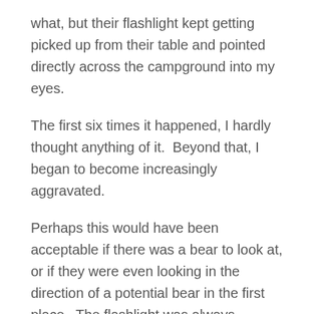what, but their flashlight kept getting picked up from their table and pointed directly across the campground into my eyes.
The first six times it happened, I hardly thought anything of it.  Beyond that, I began to become increasingly aggravated.
Perhaps this would have been acceptable if there was a bear to look at, or if they were even looking in the direction of a potential bear in the first place.  The flashlight was always pointed directly at us.
It was an extremely powerful and evil flashlight